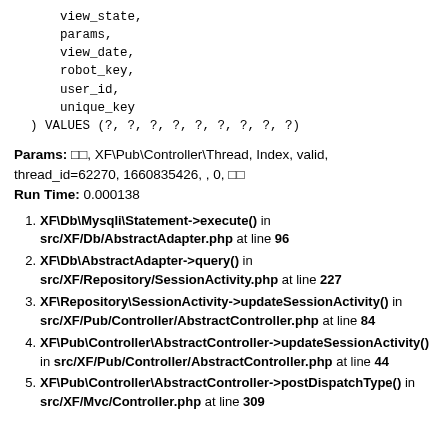view_state,
    params,
    view_date,
    robot_key,
    user_id,
    unique_key
) VALUES (?, ?, ?, ?, ?, ?, ?, ?, ?)
Params: □□, XF\Pub\Controller\Thread, Index, valid, thread_id=62270, 1660835426, , 0, □□
Run Time: 0.000138
XF\Db\Mysqli\Statement->execute() in src/XF/Db/AbstractAdapter.php at line 96
XF\Db\AbstractAdapter->query() in src/XF/Repository/SessionActivity.php at line 227
XF\Repository\SessionActivity->updateSessionActivity() in src/XF/Pub/Controller/AbstractController.php at line 84
XF\Pub\Controller\AbstractController->updateSessionActivity() in src/XF/Pub/Controller/AbstractController.php at line 44
XF\Pub\Controller\AbstractController->postDispatchType() in src/XF/Mvc/Controller.php at line 309